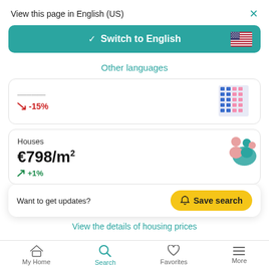View this page in English (US)
[Figure (screenshot): Switch to English button with US flag and teal background]
Other languages
-15%
Houses
€798/m²
+1%
Want to get updates?
Save search
View the details of housing prices
My Home   Search   Favorites   More